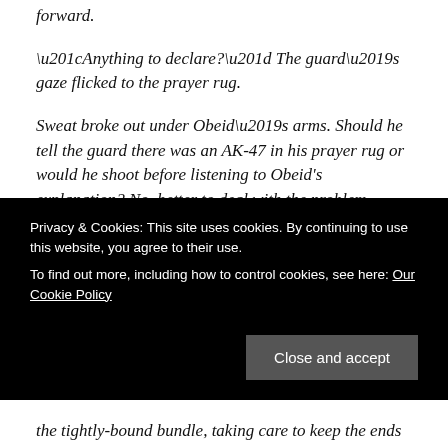forward.
“Anything to declare?” The guard’s gaze flicked to the prayer rug.
Sweat broke out under Obeid’s arms. Should he tell the guard there was an AK-47 in his prayer rug or would he shoot before listening to Obeid’s explanation? No, better to deal with the problem onboard. Besides, the Kenyans claimed they were simply leveraging demands against Britain backed by the threat posed by the sub’s weapons. They would never use them.
Privacy & Cookies: This site uses cookies. By continuing to use this website, you agree to their use.
To find out more, including how to control cookies, see here: Our Cookie Policy
the tightly-bound bundle, taking care to keep the ends